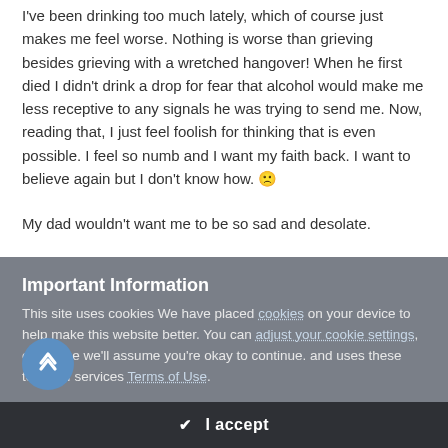I've been drinking too much lately, which of course just makes me feel worse. Nothing is worse than grieving besides grieving with a wretched hangover! When he first died I didn't drink a drop for fear that alcohol would make me less receptive to any signals he was trying to send me. Now, reading that, I just feel foolish for thinking that is even possible. I feel so numb and I want my faith back. I want to believe again but I don't know how. 🙁
My dad wouldn't want me to be so sad and desolate.
Thanks for listening.
Important Information
This site uses cookies We have placed cookies on your device to help make this website better. You can adjust your cookie settings, otherwise we'll assume you're okay to continue. and uses these terms of services Terms of Use.